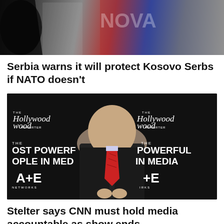[Figure (photo): Top photo showing a person silhouette against a graffiti/mural wall with red, blue and white colors]
Serbia warns it will protect Kosovo Serbs if NATO doesn't
[Figure (photo): Photo of Brian Stelter in black suit with red tie at a Hollywood Reporter event backdrop showing 'The Most Powerful People in Media' and A+E Networks]
Stelter says CNN must hold media accountable as show ends